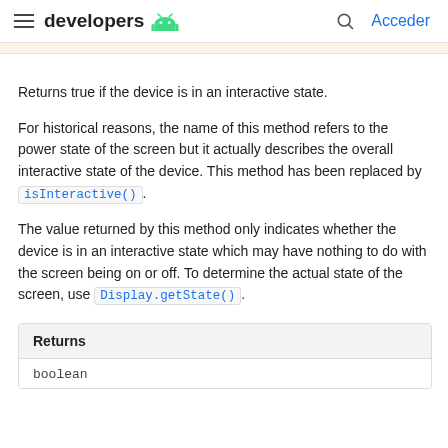developers [android logo] | [search icon] Acceder
Returns true if the device is in an interactive state.
For historical reasons, the name of this method refers to the power state of the screen but it actually describes the overall interactive state of the device. This method has been replaced by isInteractive().
The value returned by this method only indicates whether the device is in an interactive state which may have nothing to do with the screen being on or off. To determine the actual state of the screen, use Display.getState().
| Returns |
| --- |
| boolean |